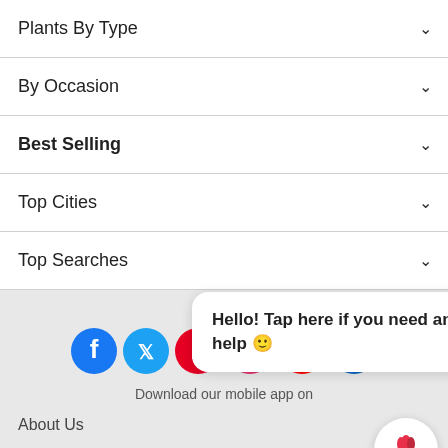Plants By Type
By Occasion
Best Selling
Top Cities
Top Searches
Hello! Tap here if you need any help 🙂
[Figure (infographic): Row of social media icons: Facebook, Twitter, Pinterest, Instagram, YouTube, LinkedIn]
Download our mobile app on
About Us